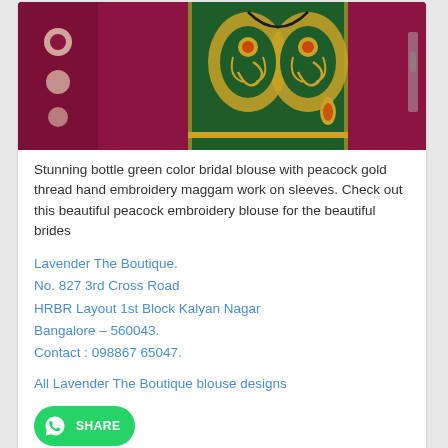[Figure (photo): Bottle green color bridal blouse with peacock gold thread hand embroidery maggam work on sleeves, laid on magenta/maroon fabric background]
Stunning bottle green color bridal blouse with peacock gold thread hand embroidery maggam work on sleeves. Check out this beautiful peacock embroidery blouse for the beautiful brides
Lavender The Boutique.
No. 827 3rd Cross Road
HRBR Layout 1st Block Kalyan Nagar
Bangalore – 560043.
Contact : 098867 65047.
All Lavender The Boutique blouse designs
[Figure (other): WhatsApp Share button — green rounded button with WhatsApp icon and SHARE text]